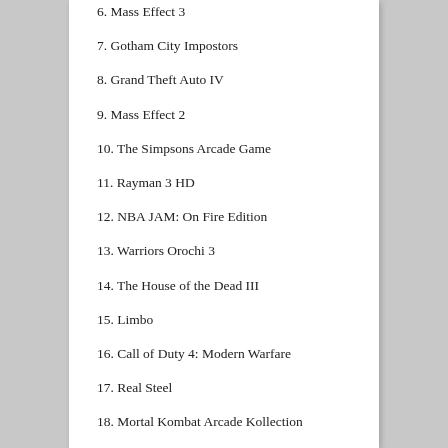6. Mass Effect 3
7. Gotham City Impostors
8. Grand Theft Auto IV
9. Mass Effect 2
10. The Simpsons Arcade Game
11. Rayman 3 HD
12. NBA JAM: On Fire Edition
13. Warriors Orochi 3
14. The House of the Dead III
15. Limbo
16. Call of Duty 4: Modern Warfare
17. Real Steel
18. Mortal Kombat Arcade Kollection
19. Star Wars: The Force Unleashed II
20. Sonic CD
Top 10 PS Vita Games:
1. Escape Plan